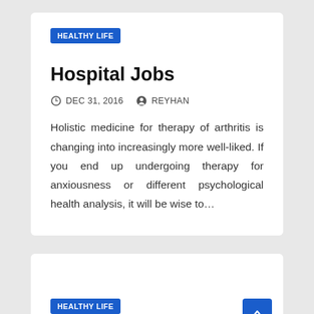HEALTHY LIFE
Hospital Jobs
DEC 31, 2016   REYHAN
Holistic medicine for therapy of arthritis is changing into increasingly more well-liked. If you end up undergoing therapy for anxiousness or different psychological health analysis, it will be wise to…
HEALTHY LIFE